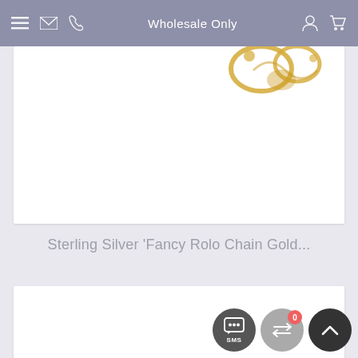Wholesale Only
[Figure (photo): Partial view of gold jewelry (chains/rings) on white background product card]
Sterling Silver 'Fancy Rolo Chain Gold...
[Figure (photo): Second product card, partially visible, white background]